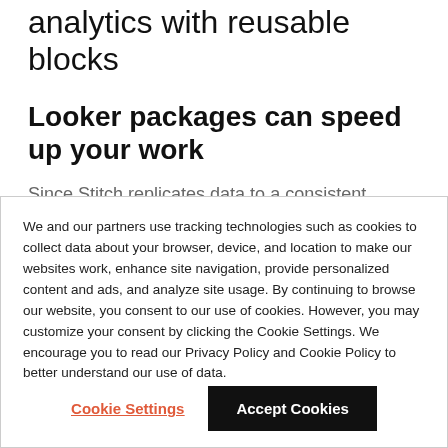analytics with reusable blocks
Looker packages can speed up your work
Since Stitch replicates data to a consistent schema, it works well with other tools in your stack. Once you have
We and our partners use tracking technologies such as cookies to collect data about your browser, device, and location to make our websites work, enhance site navigation, provide personalized content and ads, and analyze site usage. By continuing to browse our website, you consent to our use of cookies. However, you may customize your consent by clicking the Cookie Settings. We encourage you to read our Privacy Policy and Cookie Policy to better understand our use of data.
Cookie Settings
Accept Cookies